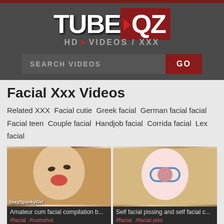TubeQZ HD VIDEOS XXX
SEARCH VIDEOS GO
Facial Xxx Videos
Related XXX Facial cutie Greek facial German facial facial Facial teen Couple facial Handjob facial Corrida facial Lex facial
[Figure (photo): Video thumbnail: amateur woman with short blonde hair]
Amateur cum facial compilation b...
#facial #cumshot
[Figure (photo): Video thumbnail: animated character with white hair and glasses]
Self facial pissing and self facial c...
#facial #facial piss
[Figure (photo): Video thumbnail: woman with dark hair]
[Figure (photo): Video thumbnail: woman with red hair]